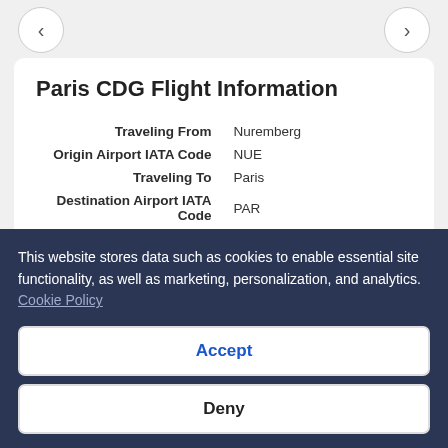Paris CDG Flight Information
| Field | Value |
| --- | --- |
| Traveling From | Nuremberg |
| Origin Airport IATA Code | NUE |
| Traveling To | Paris |
| Destination Airport IATA Code | PAR |
| Number of Airlines Serving | 13 |
| Available Airlines | Air France, KLM, Luxair |
| Distance | 448 km |
This website stores data such as cookies to enable essential site functionality, as well as marketing, personalization, and analytics. Cookie Policy
Accept
Deny